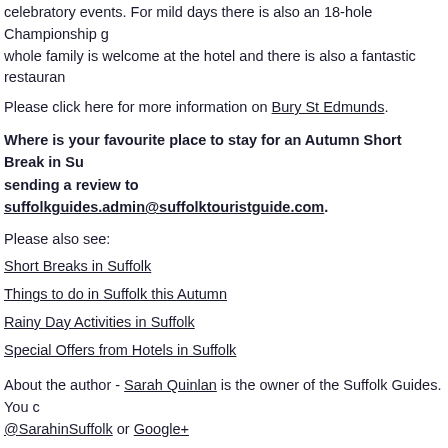celebratory events. For mild days there is also an 18-hole Championship g… whole family is welcome at the hotel and there is also a fantastic restauran…
Please click here for more information on Bury St Edmunds.
Where is your favourite place to stay for an Autumn Short Break in Su… sending a review to suffolkguides.admin@suffolktouristguide.com.
Please also see:
Short Breaks in Suffolk
Things to do in Suffolk this Autumn
Rainy Day Activities in Suffolk
Special Offers from Hotels in Suffolk
About the author - Sarah Quinlan is the owner of the Suffolk Guides. You c… @SarahinSuffolk or Google+
[Figure (infographic): Social sharing buttons showing Tweet, Share, Email, and a fourth partial button, each with a counter showing 0 above them.]